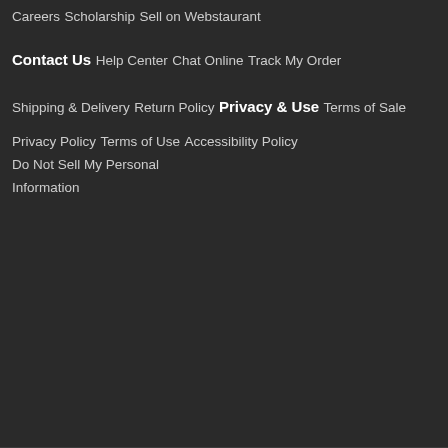Careers
Scholarship
Sell on Webstaurant
Contact Us
Help Center
Chat Online
Track My Order
Shipping & Delivery
Return Policy
Privacy & Use
Terms of Sale
Privacy Policy
Terms of Use
Accessibility Policy
Do Not Sell My Personal Information